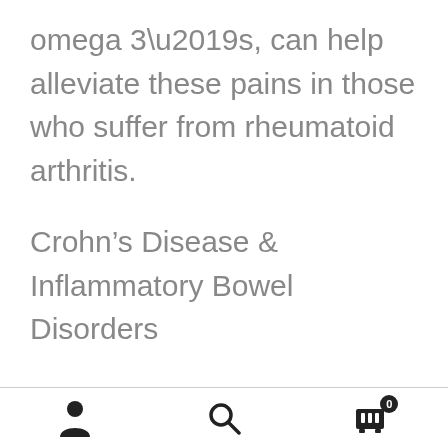omega 3’s, can help alleviate these pains in those who suffer from rheumatoid arthritis.
Crohn’s Disease & Inflammatory Bowel Disorders